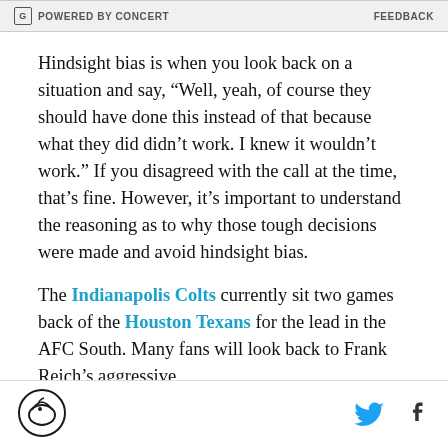[Figure (other): Advertisement bar with 'POWERED BY CONCERT' text and 'FEEDBACK' link]
Hindsight bias is when you look back on a situation and say, “Well, yeah, of course they should have done this instead of that because what they did didn’t work. I knew it wouldn’t work.” If you disagreed with the call at the time, that’s fine. However, it’s important to understand the reasoning as to why those tough decisions were made and avoid hindsight bias.
The Indianapolis Colts currently sit two games back of the Houston Texans for the lead in the AFC South. Many fans will look back to Frank Reich’s aggressive
[Figure (logo): SB Nation horse logo in circle]
[Figure (other): Twitter and Facebook social media icons]